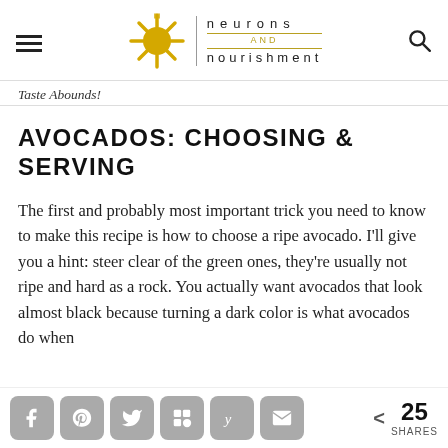neurons and nourishment
Taste Abounds!
AVOCADOS: CHOOSING & SERVING
The first and probably most important trick you need to know to make this recipe is how to choose a ripe avocado. I'll give you a hint: steer clear of the green ones, they're usually not ripe and hard as a rock. You actually want avocados that look almost black because turning a dark color is what avocados do when
< 25 SHARES